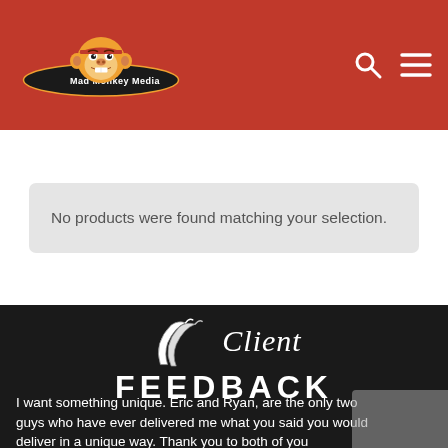[Figure (logo): Mad Monkey Media logo with illustrated monkey face and site name, on red/orange header background]
No products were found matching your selection.
[Figure (illustration): Banana illustration with cursive 'Client FEEDBACK' text on dark background]
I want something unique. Eric and Ryan, are the only two guys who have ever delivered me what you said you would deliver in a unique way. Thank you to both of you